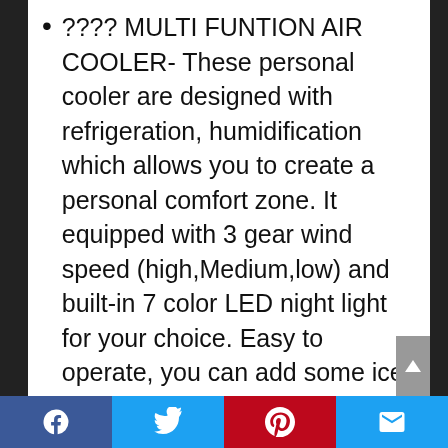???? MULTI FUNTION AIR COOLER- These personal cooler are designed with refrigeration, humidification which allows you to create a personal comfort zone. It equipped with 3 gear wind speed (high,Medium,low) and built-in 7 color LED night light for your choice. Easy to operate, you can add some ice together with the water into the water tank for mist humidify cooling air. NOTICE: This portable air conditioner only cools the area around the user.
???? LEAKPROOF & NEW FILTER